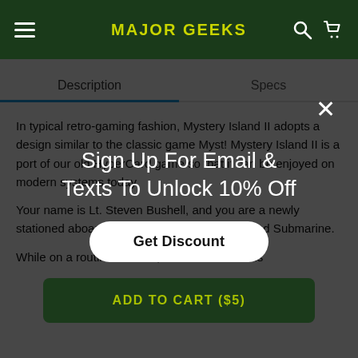MAJOR GEEKS
Description | Specs
In typical retro-gaming fashion, Mystery Island II adopts a design similar to the classic game Myst! Mystery Island II is a port of our old HyperCard game so that it can be enjoyed on modern systems today.
Your name is Lt. Steven Bushell, and you are a newly stationed aboard the CSS Volarus, a US-bodied Submarine.
While on a routine mission, the USS Volarus is
[Figure (screenshot): Modal popup overlay with dark background, close X button, text 'Sign Up For Email & Texts To Unlock 10% Off', a 'Get Discount' white button, and 'ADD TO CART ($5)' dark green button]